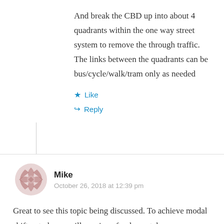And break the CBD up into about 4 quadrants within the one way street system to remove the through traffic. The links between the quadrants can be bus/cycle/walk/tram only as needed
Like
Reply
Mike
October 26, 2018 at 12:39 pm
Great to see this topic being discussed. To achieve modal shift onto buses will require a fundamental